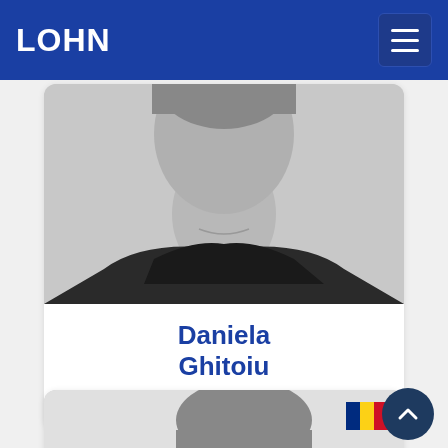LOHN
[Figure (photo): Black and white photo of Daniela Ghitoiu, cropped at the shoulders, wearing a dark top]
Daniela Ghitoiu
Customers manager
[Figure (illustration): LinkedIn button icon]
[Figure (photo): Black and white photo of a second person, male, shown from mid-chest up]
[Figure (illustration): Romanian flag icon in top right of second card]